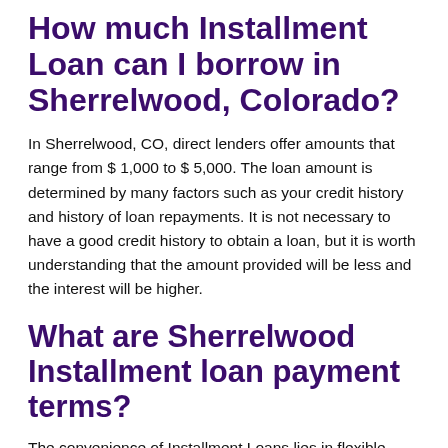How much Installment Loan can I borrow in Sherrelwood, Colorado?
In Sherrelwood, CO, direct lenders offer amounts that range from $ 1,000 to $ 5,000. The loan amount is determined by many factors such as your credit history and history of loan repayments. It is not necessary to have a good credit history to obtain a loan, but it is worth understanding that the amount provided will be less and the interest will be higher.
What are Sherrelwood Installment loan payment terms?
The convenience of Installment Loans lies in flexible